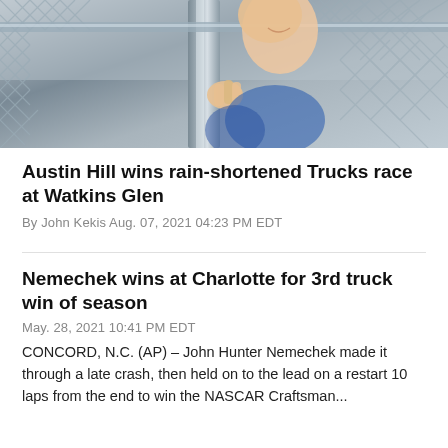[Figure (photo): A person smiling and gripping a chain-link fence post, wearing blue clothing. The image is cropped showing the fence in the foreground with a hand grasping it.]
Austin Hill wins rain-shortened Trucks race at Watkins Glen
By John Kekis Aug. 07, 2021 04:23 PM EDT
Nemechek wins at Charlotte for 3rd truck win of season
May. 28, 2021 10:41 PM EDT
CONCORD, N.C. (AP) – John Hunter Nemechek made it through a late crash, then held on to the lead on a restart 10 laps from the end to win the NASCAR Craftsman...